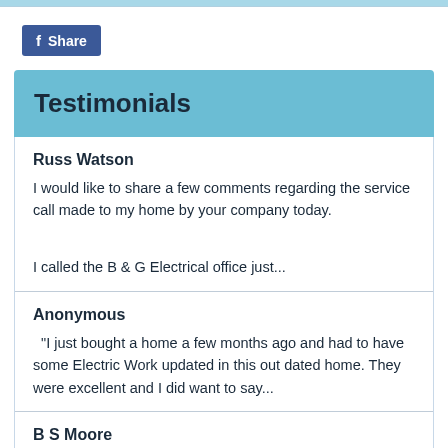[Figure (other): Facebook Share button with blue background and 'f Share' label]
Testimonials
Russ Watson
I would like to share a few comments regarding the service call made to my home by your company today.

I called the B & G Electrical office just...
Anonymous
"I just bought a home a few months ago and had to have some Electric Work updated in this out dated home. They were excellent and I did want to say...
B S Moore
Just had the GREATEST experience with a contractor in my life!